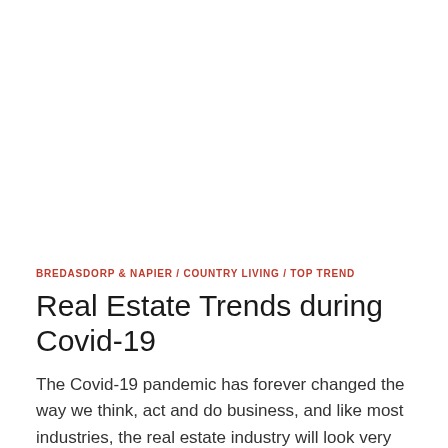[Figure (photo): Blank white image area at top of page (image not visible/loaded)]
BREDASDORP & NAPIER / COUNTRY LIVING / TOP TREND
Real Estate Trends during Covid-19
The Covid-19 pandemic has forever changed the way we think, act and do business, and like most industries, the real estate industry will look very different by the end of …